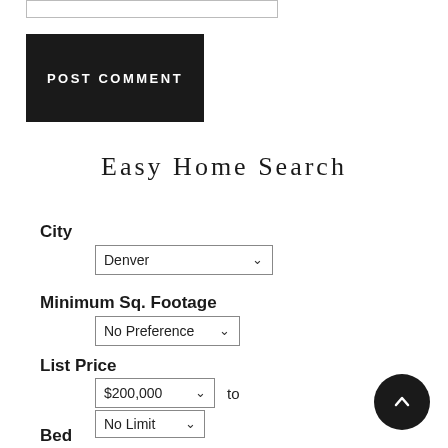[Figure (screenshot): Input field/search bar at top of page, partially visible]
POST COMMENT
Easy Home Search
City
Denver (dropdown)
Minimum Sq. Footage
No Preference (dropdown)
List Price
$200,000 (dropdown) to
No Limit (dropdown)
Bed